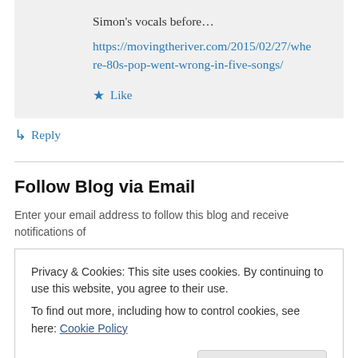Simon's vocals before…
https://movingtheriver.com/2015/02/27/where-80s-pop-went-wrong-in-five-songs/
★ Like
↳ Reply
Follow Blog via Email
Enter your email address to follow this blog and receive notifications of
Privacy & Cookies: This site uses cookies. By continuing to use this website, you agree to their use. To find out more, including how to control cookies, see here: Cookie Policy
Close and accept